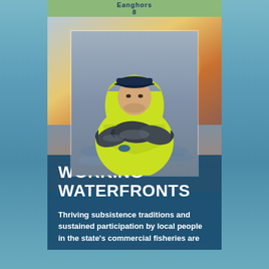Eanghors 8
[Figure (photo): Young man in a bright yellow-green hooded rain jacket holding several large dark fish (blackcod/sablefish) on a fishing vessel at sea, with ocean and sky in the background]
WORKING WATERFRONTS
Thriving subsistence traditions and sustained participation by local people in the state's commercial fisheries are